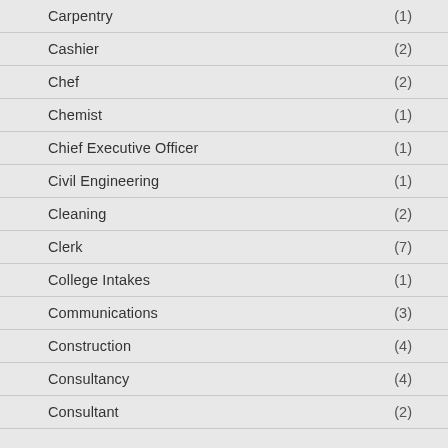Carpentry (1)
Cashier (2)
Chef (2)
Chemist (1)
Chief Executive Officer (1)
Civil Engineering (1)
Cleaning (2)
Clerk (7)
College Intakes (1)
Communications (3)
Construction (4)
Consultancy (4)
Consultant (2)